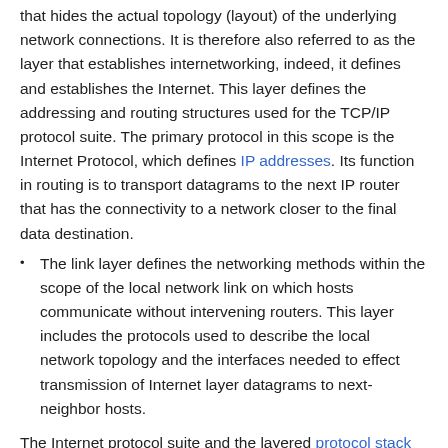that hides the actual topology (layout) of the underlying network connections. It is therefore also referred to as the layer that establishes internetworking, indeed, it defines and establishes the Internet. This layer defines the addressing and routing structures used for the TCP/IP protocol suite. The primary protocol in this scope is the Internet Protocol, which defines IP addresses. Its function in routing is to transport datagrams to the next IP router that has the connectivity to a network closer to the final data destination.
The link layer defines the networking methods within the scope of the local network link on which hosts communicate without intervening routers. This layer includes the protocols used to describe the local network topology and the interfaces needed to effect transmission of Internet layer datagrams to next-neighbor hosts.
The Internet protocol suite and the layered protocol stack design were in use before the OSI model was established. Since then, the TCP/IP model has been compared with the OSI model in books and classrooms, which often results in confusion because the two models use different assumptions and goals, including the relative